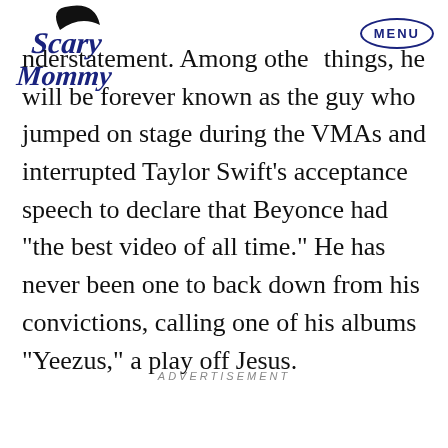Scary Mommy logo and MENU button
understatement. Among other things, he will be forever known as the guy who jumped on stage during the VMAs and interrupted Taylor Swift’s acceptance speech to declare that Beyonce had “the best video of all time.” He has never been one to back down from his convictions, calling one of his albums “Yeezus,” a play off Jesus.
ADVERTISEMENT